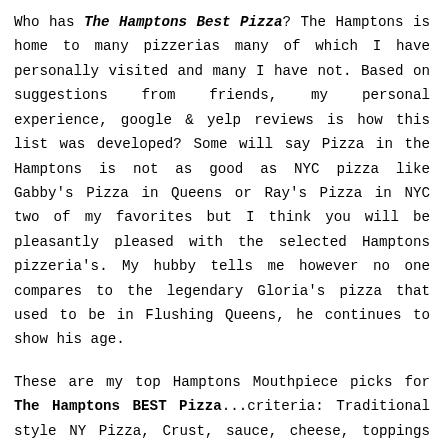Who has The Hamptons Best Pizza? The Hamptons is home to many pizzerias many of which I have personally visited and many I have not. Based on suggestions from friends, my personal experience, google & yelp reviews is how this list was developed? Some will say Pizza in the Hamptons is not as good as NYC pizza like Gabby's Pizza in Queens or Ray's Pizza in NYC two of my favorites but I think you will be pleasantly pleased with the selected Hamptons pizzeria's. My hubby tells me however no one compares to the legendary Gloria's pizza that used to be in Flushing Queens, he continues to show his age.
These are my top Hamptons Mouthpiece picks for The Hamptons BEST Pizza...criteria: Traditional style NY Pizza, Crust, sauce, cheese, toppings and of course taste. If your favorite did not make my list, email me and I will stop by to taste and if it meets my requirements for BEST PIZZA, they will be